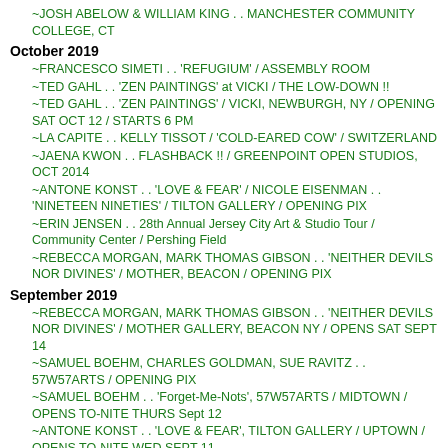~JOSH ABELOW & WILLIAM KING . . MANCHESTER COMMUNITY COLLEGE, CT
October 2019
~FRANCESCO SIMETI . . 'REFUGIUM' / ASSEMBLY ROOM
~TED GAHL . . 'ZEN PAINTINGS' at VICKI / THE LOW-DOWN !!
~TED GAHL . . 'ZEN PAINTINGS' / VICKI, NEWBURGH, NY / OPENING SAT OCT 12 / STARTS 6 PM
~LA CAPITE . . KELLY TISSOT / 'COLD-EARED COW' / SWITZERLAND
~JAENA KWON . . FLASHBACK !! / GREENPOINT OPEN STUDIOS, OCT 2014
~ANTONE KONST . . 'LOVE & FEAR' / NICOLE EISENMAN . . 'NINETEEN NINETIES' / TILTON GALLERY / OPENING PIX
~ERIN JENSEN . . 28th Annual Jersey City Art & Studio Tour / Community Center / Pershing Field
~REBECCA MORGAN, MARK THOMAS GIBSON . . 'NEITHER DEVILS NOR DIVINES' / MOTHER, BEACON / OPENING PIX
September 2019
~REBECCA MORGAN, MARK THOMAS GIBSON . . 'NEITHER DEVILS NOR DIVINES' / MOTHER GALLERY, BEACON NY / OPENS SAT SEPT 14
~SAMUEL BOEHM, CHARLES GOLDMAN, SUE RAVITZ . . 57W57ARTS / OPENING PIX
~SAMUEL BOEHM . . 'Forget-Me-Nots', 57W57ARTS / MIDTOWN / OPENS TO-NITE THURS Sept 12
~ANTONE KONST . . 'LOVE & FEAR', TILTON GALLERY / UPTOWN / OPENS TO-NITE WED SEPT 11
~9-11 Quilt . . 'Lightning Strikes'
~DANIEL GIORDANO, BROCK ENRIGHT, GIOVANNI FORLINO, CHASON MATTHAMS, RYAN BROWNING, STEVEN MAYER, JENNY MORGAN . . . 'SOFT TEMPLE' / MOTHER GALLERY / BEACON, NY
~DANIEL GIORDANO . . STUDIO VISIT / NEWBURGH, NY